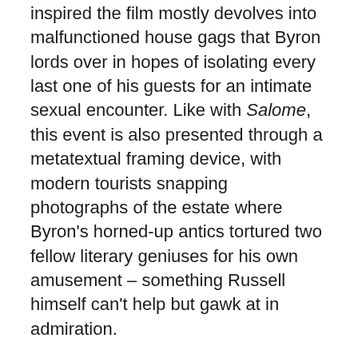inspired the film mostly devolves into malfunctioned house gags that Byron lords over in hopes of isolating every last one of his guests for an intimate sexual encounter. Like with Salome, this event is also presented through a metatextual framing device, with modern tourists snapping photographs of the estate where Byron's horned-up antics tortured two fellow literary geniuses for his own amusement – something Russell himself can't help but gawk at in admiration.
Gothic is Ken Russell striving to be on his worst behavior despite an unusually tight budget. It's the exact kind of maniacally perverse spectacle you always hope for from him, staged with the resources of a Kate Bush music video stretched out to feature length. The way it depicts the Shelleys' romantic dynamic is also surprisingly on-point about the misogyny at the core of Free Love